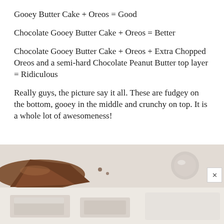Gooey Butter Cake + Oreos = Good
Chocolate Gooey Butter Cake + Oreos = Better
Chocolate Gooey Butter Cake + Oreos + Extra Chopped Oreos and a semi-hard Chocolate Peanut Butter top layer = Ridiculous
Really guys, the picture say it all. These are fudgey on the bottom, gooey in the middle and crunchy on top. It is a whole lot of awesomeness!
[Figure (photo): Two-part food photo: top band shows chocolate baked goods on a light marble/table surface with a small round object visible at right; bottom band shows lighter colored baked items (possibly sugar-dusted bars) on a surface. An X close button overlays the right side.]